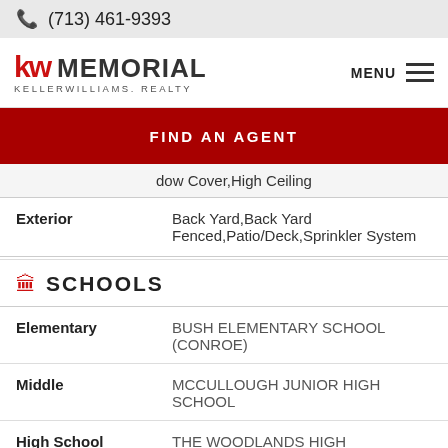(713) 461-9393
[Figure (logo): KW Memorial Keller Williams Realty logo with MENU hamburger icon]
FIND AN AGENT
dow Cover,High Ceiling
|  |  |
| --- | --- |
| Exterior | Back Yard,Back Yard Fenced,Patio/Deck,Sprinkler System |
SCHOOLS
|  |  |
| --- | --- |
| Elementary | BUSH ELEMENTARY SCHOOL (CONROE) |
| Middle | MCCULLOUGH JUNIOR HIGH SCHOOL |
| High School | THE WOODLANDS HIGH |